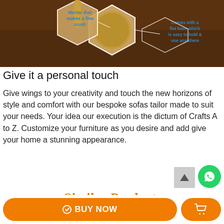[Figure (photo): Product image of a wooden mortar and pestle with text overlays. Top-left label: 'Mortar that makes a fine crush'. Right label: 'Comes with a flat base which is easy to hold & use anywhere'. Hexagonal graphic overlays on dark brown background.]
Give it a personal touch
Give wings to your creativity and touch the new horizons of style and comfort with our bespoke sofas tailor made to suit your needs. Your idea our execution is the dictum of Crafts A to Z. Customize your furniture as you desire and add give your home a stunning appearance.
Similar Products
BUY NOW